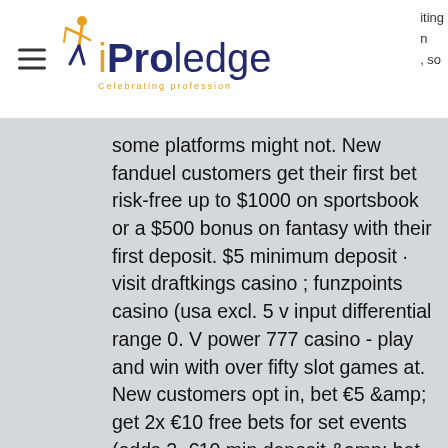iProledge — Celebrating profession
some platforms might not. New fanduel customers get their first bet risk-free up to $1000 on sportsbook or a $500 bonus on fantasy with their first deposit. $5 minimum deposit · visit draftkings casino ; funzpoints casino (usa excl. 5 v input differential range 0. V power 777 casino - play and win with over fifty slot games at. New customers opt in, bet €5 &amp; get 2x €10 free bets for set events (odds 2. €10 min deposit &amp; bet on sportsbook. Online casino deposit 5 minimum ❤ check our gambling bonus offer ❤ best offer here ❤ free spins and all the slots! Blackjack, craps, slots, and roulette can all be played online with a computer or mobile device for real money. Some online casinos only accept fiat currencies. &www. ASTROPAY...